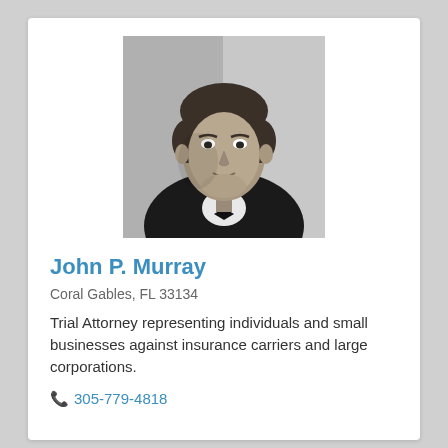[Figure (photo): Black and white professional headshot of John P. Murray, a man in a dark suit and bow tie]
John P. Murray
Coral Gables, FL 33134
Trial Attorney representing individuals and small businesses against insurance carriers and large corporations.
305-779-4818